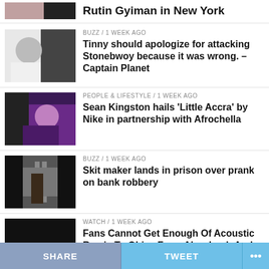[Figure (photo): Partial top news item thumbnail, cut off at top]
Rutin Gyiman in New York
[Figure (photo): Photo of a man in white shirt with headband]
BUZZ / 1 week ago
Tinny should apologize for attacking Stonebwoy because it was wrong. – Captain Planet
[Figure (photo): Photo of Sean Kingston in colorful outfit]
PEOPLE & LIFESTYLE / 1 week ago
Sean Kingston hails 'Little Accra' by Nike in partnership with Afrochella
[Figure (photo): Photo of hands gripping prison bars]
BUZZ / 1 week ago
Skit maker lands in prison over prank on bank robbery
[Figure (photo): Black image thumbnail]
WATCH / 1 week ago
Fans Cannot Get Enough Of Acoustic Remix To Obiaa From Akwaboah And Cina Soul
SHARE   TWEET   ...